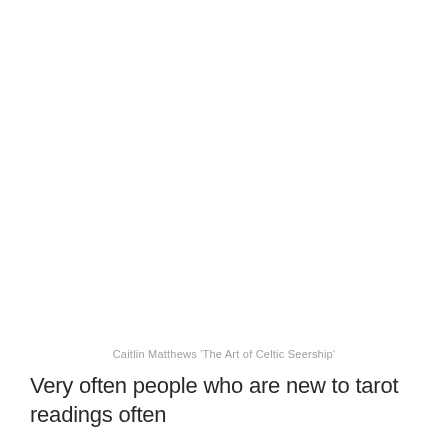Caitlin Matthews 'The Art of Celtic Seership'
Very often people who are new to tarot readings often